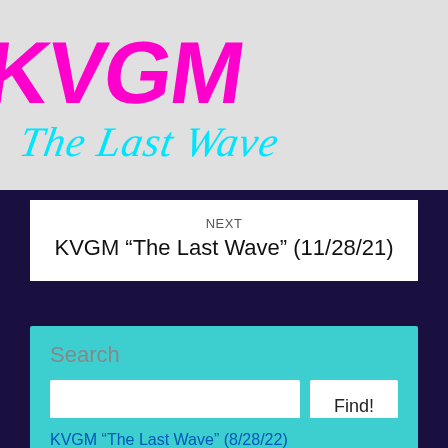[Figure (logo): KVGM The Last Wave logo with magenta block letters KVGM and cyan italic script 'The Last Wave' below]
NEXT
KVGM “The Last Wave” (11/28/21)
Search
KVGM “The Last Wave” (8/28/22)
KVGM “The Last Wave” (8/21/22)